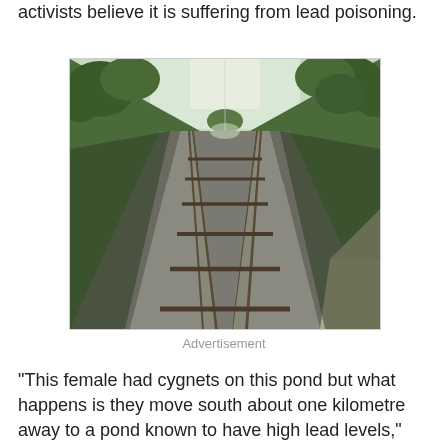activists believe it is suffering from lead poisoning.
[Figure (photo): A perspective view of straight railway tracks stretching to a vanishing point, flanked by green tree-lined embankments on each side, photographed from close to track level with motion blur on the sides.]
Advertisement
"This female had cygnets on this pond but what happens is they move south about one kilometre away to a pond known to have high lead levels," local resident Renzo